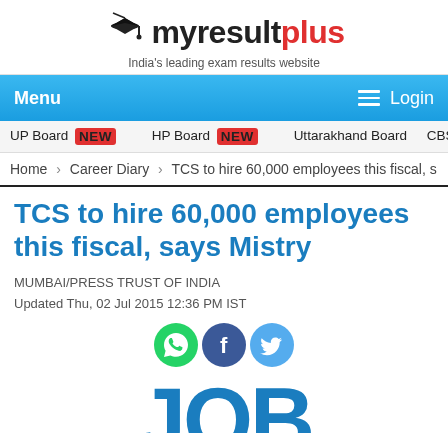[Figure (logo): myresultplus logo with graduation cap icon and tagline 'India's leading exam results website']
Menu  ☰ Login
UP Board NEW  HP Board NEW  Uttarakhand Board  CBSE Boa...
Home › Career Diary › TCS to hire 60,000 employees this fiscal, s...
TCS to hire 60,000 employees this fiscal, says Mistry
MUMBAI/PRESS TRUST OF INDIA
Updated Thu, 02 Jul 2015 12:36 PM IST
[Figure (illustration): Social share icons: WhatsApp (green), Facebook (blue), Twitter (light blue)]
[Figure (photo): Large blue text graphic showing 'JOB' partially visible at bottom of page]